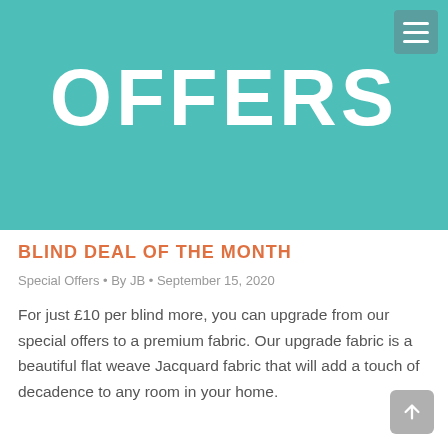[Figure (illustration): Teal/turquoise hero banner background with large white text reading OFFERS and a hamburger menu button in the top right corner]
BLIND DEAL OF THE MONTH
Special Offers • By JB • September 15, 2020
For just £10 per blind more, you can upgrade from our special offers to a premium fabric. Our upgrade fabric is a beautiful flat weave Jacquard fabric that will add a touch of decadence to any room in your home.